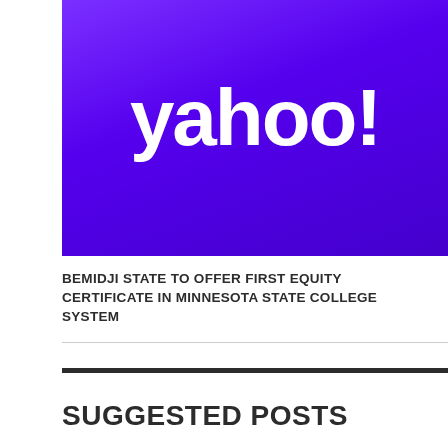[Figure (logo): Yahoo! logo — white bold text on purple/violet gradient background]
BEMIDJI STATE TO OFFER FIRST EQUITY CERTIFICATE IN MINNESOTA STATE COLLEGE SYSTEM
SUGGESTED POSTS